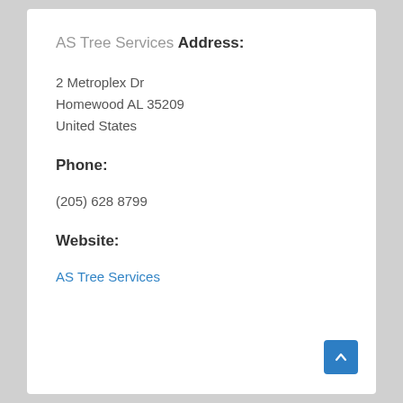AS Tree Services
Address:
2 Metroplex Dr
Homewood AL 35209
United States
Phone:
(205) 628 8799
Website:
AS Tree Services